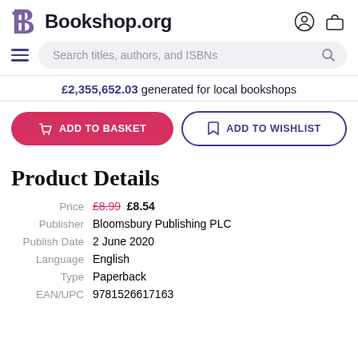Bookshop.org
Search titles, authors, and ISBNs
£2,355,652.03 generated for local bookshops
ADD TO BASKET
ADD TO WISHLIST
Product Details
| Field | Value |
| --- | --- |
| Price | £8.99  £8.54 |
| Publisher | Bloomsbury Publishing PLC |
| Publish Date | 2 June 2020 |
| Language | English |
| Type | Paperback |
| EAN/UPC | 9781526617163 |